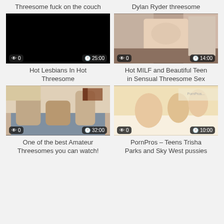Threesome fuck on the couch
Dylan Ryder threesome
[Figure (photo): Video thumbnail - black screen]
[Figure (photo): Video thumbnail - two women and a man on a bed]
Hot Lesbians In Hot Threesome
Hot MILF and Beautiful Teen in Sensual Threesome Sex
[Figure (photo): Video thumbnail - group on a couch]
[Figure (photo): Video thumbnail - three people on white couch]
One of the best Amateur Threesomes you can watch!
PornPros – Teens Trisha Parks and Sky West pussies